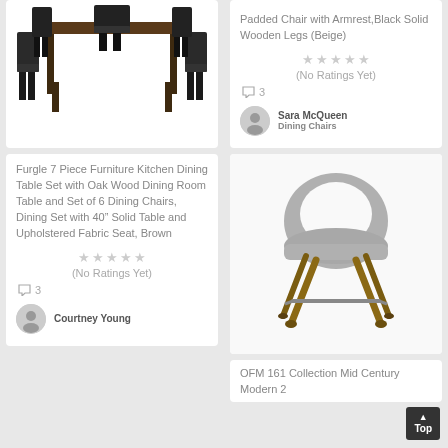[Figure (photo): Dining table set with dark chairs and brown wooden table, viewed from above-front angle]
Furgle 7 Piece Furniture Kitchen Dining Table Set with Oak Wood Dining Room Table and Set of 6 Dining Chairs, Dining Set with 40" Solid Table and Upholstered Fabric Seat, Brown
(No Ratings Yet)
3
Courtney Young
Padded Chair with Armrest,Black Solid Wooden Legs (Beige)
(No Ratings Yet)
3
Sara McQueen
Dining Chairs
[Figure (photo): Modern mid-century bar stool with gray fabric rounded back and wooden legs]
OFM 161 Collection Mid Century Modern 2